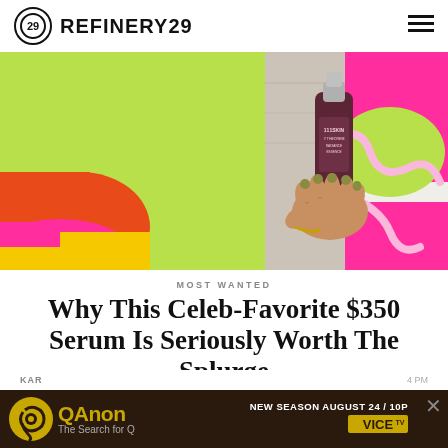REFINERY29
[Figure (photo): Hand holding a dark maroon 111SKIN serum bottle against a colorful abstract background with yellow-green, orange, pink, magenta, and teal shapes]
MOST WANTED
Why This Celeb-Favorite $350 Serum Is Seriously Worth The Splurge
[Figure (other): Advertisement banner for QAnon: The Search for Q on VICE TV — New Season August 24 / 10P]
KAR ... 4 PM